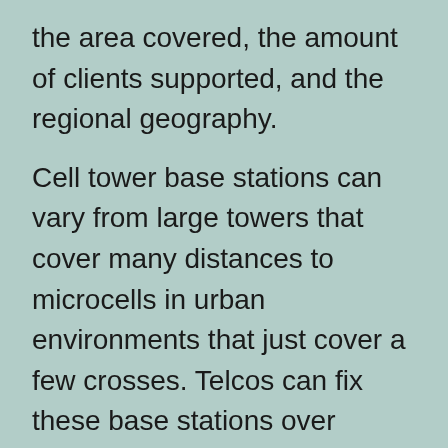the area covered, the amount of clients supported, and the regional geography.
Cell tower base stations can vary from large towers that cover many distances to microcells in urban environments that just cover a few crosses. Telcos can fix these base stations over dedicated buildings or fasten them to existing structures. Multiple towers are disguised to mingle in with their surroundings. Often a single cell tower will include radios and equipment for different service providers.
Difference: Macrocell, Small